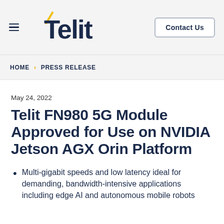[Figure (logo): Telit company logo with hamburger menu icon on left and Contact Us button on right in a light gray header bar]
HOME > PRESS RELEASE
May 24, 2022
Telit FN980 5G Module Approved for Use on NVIDIA Jetson AGX Orin Platform
Multi-gigabit speeds and low latency ideal for demanding, bandwidth-intensive applications including edge AI and autonomous mobile robots